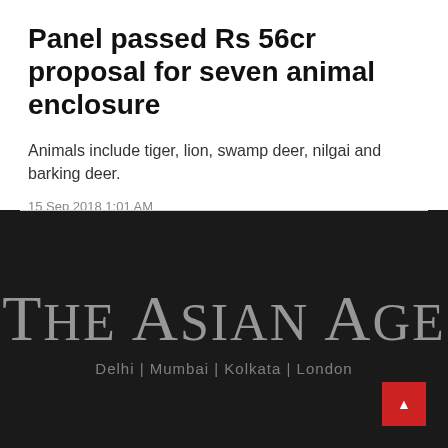Panel passed Rs 56cr proposal for seven animal enclosure
Animals include tiger, lion, swamp deer, nilgai and barking deer.
15 Sep 2018 1:01 AM
[Figure (logo): The Asian Age newspaper logo with tagline Delhi | Mumbai | Kolkata | London]